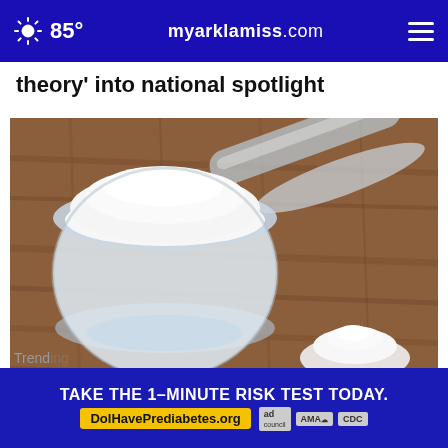85° myarklamiss.com
theory’ into national spotlight
[Figure (photo): A clear plastic measuring scoop filled with white powder (protein powder or similar supplement) resting on a wooden surface, with a small pile of the same white powder beside it.]
A Teaspoon on an Empty Stomach Drops Body Wei
Trending
TAKE THE 1-MINUTE RISK TEST TODAY. DolHavePrediabetes.org